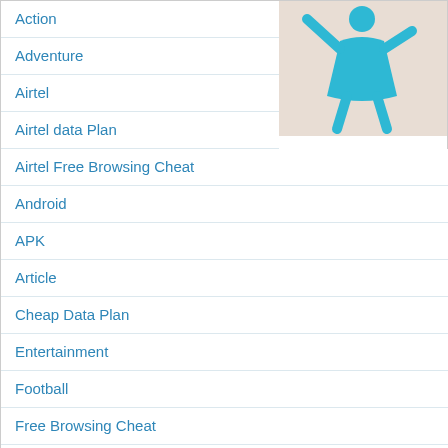[Figure (illustration): Blue stick figure person icon on beige/tan background, arms raised, female silhouette]
Action
Adventure
Airtel
Airtel data Plan
Airtel Free Browsing Cheat
Android
APK
Article
Cheap Data Plan
Entertainment
Football
Free Browsing Cheat
Free Recharge
Games
Glo